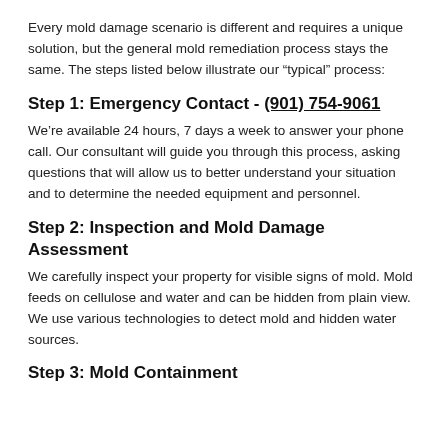Every mold damage scenario is different and requires a unique solution, but the general mold remediation process stays the same. The steps listed below illustrate our “typical” process:
Step 1: Emergency Contact - (901) 754-9061
We’re available 24 hours, 7 days a week to answer your phone call. Our consultant will guide you through this process, asking questions that will allow us to better understand your situation and to determine the needed equipment and personnel.
Step 2: Inspection and Mold Damage Assessment
We carefully inspect your property for visible signs of mold. Mold feeds on cellulose and water and can be hidden from plain view. We use various technologies to detect mold and hidden water sources.
Step 3: Mold Containment